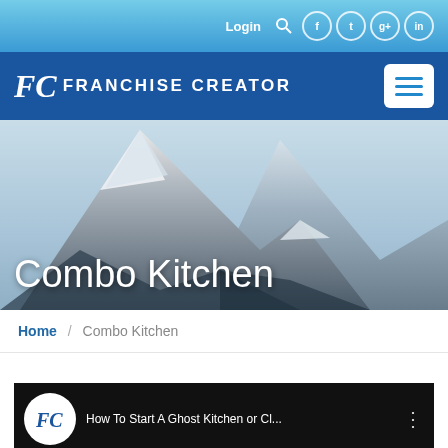Login
FC FRANCHISE CREATOR
[Figure (screenshot): Hero image of snow-capped mountains with text 'Combo Kitchen' overlaid]
Home / Combo Kitchen
[Figure (screenshot): Video thumbnail showing Franchise Creator logo and text 'How To Start A Ghost Kitchen or Cl...' and 'WORLD'S' in large bold white text]